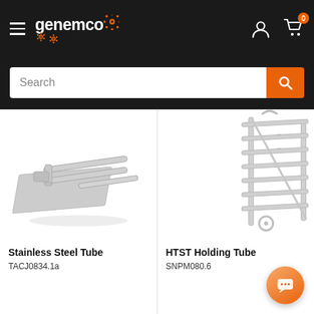genemco - navigation header with hamburger menu, logo, user icon, cart icon
Search
[Figure (photo): Stainless steel tube product with U-shaped rails mounted on a flat metal plate, product image on white background]
Stainless Steel Tube
TACJ0834.1a
[Figure (photo): HTST Holding Tube product, partially visible, metal rack/frame structure with multiple horizontal rails, on white background]
HTST Holding Tube
SNPM080.6